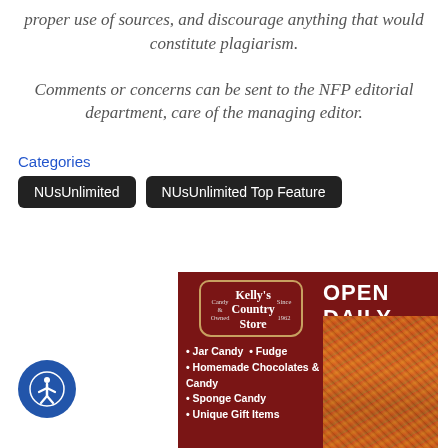proper use of sources, and discourage anything that would constitute plagiarism.
Comments or concerns can be sent to the NFP editorial department, care of the managing editor.
Categories
NUsUnlimited
NUsUnlimited Top Feature
[Figure (illustration): Kelly's Country Store advertisement. Dark red background. Text: OPEN DAILY. Logo badge with store name. Bullet points: Jar Candy, Fudge, Homemade Chocolates & Candy, Sponge Candy, Unique Gift Items. Photo of colorful candy/chocolates on right side.]